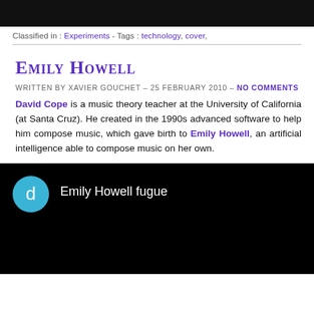[Figure (screenshot): Dark top banner image, partial YouTube/video interface]
Classified in : Experiments - Tags : technology, cover,
Emily Howell
Written by Xavier Gouchet - 25 february 2010 - no comments
David Cope is a music theory teacher at the University of California (at Santa Cruz). He created in the 1990s advanced software to help him compose music, which gave birth to Emily Howell, an artificial intelligence able to compose music on her own.
[Figure (screenshot): Video player UI with dark background, circular blue avatar with letter 'd', and title 'Emily Howell fugue']